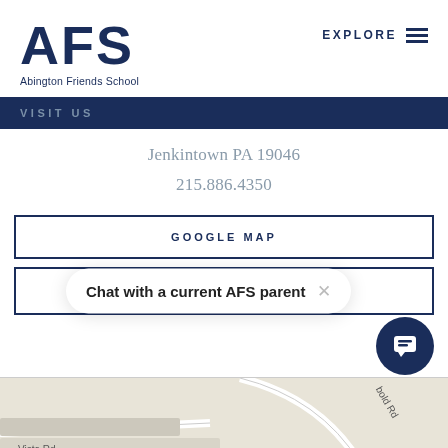[Figure (logo): AFS Abington Friends School logo — large bold dark navy 'AFS' letters with 'Abington Friends School' text below]
EXPLORE ≡
VISIT US
Jenkintown PA 19046
215.886.4350
GOOGLE MAP
Chat with a current AFS parent ×
[Figure (map): Partial Google Map showing street view with Vista Rd label visible at bottom left]